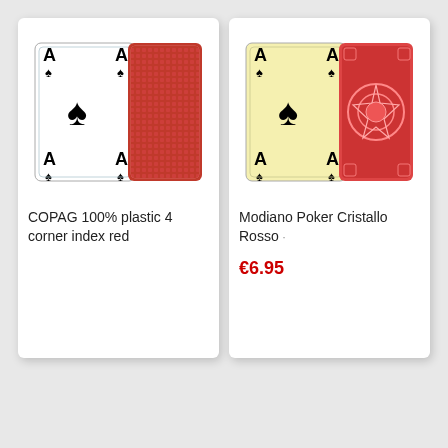[Figure (illustration): COPAG playing cards product image: Ace of Spades face card (white background, black spades and A corners) and a red patterned card back side by side]
COPAG 100% plastic 4 corner index red
[Figure (illustration): Modiano Poker Cristallo Rosso playing cards product image: Ace of Spades face card (yellow/cream background) and a red ornate patterned card back side by side]
Modiano Poker Cristallo Rosso ·
€6.95